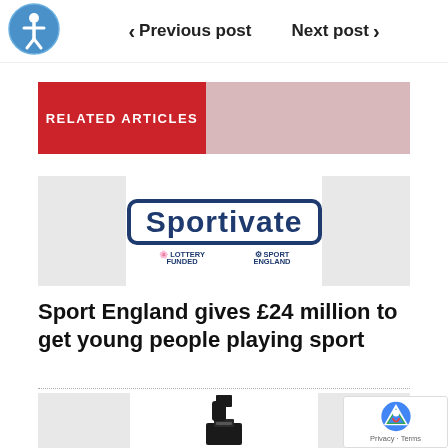[Figure (logo): Accessibility icon - blue circle with white human figure]
< Previous post   Next post >
RELATED ARTICLES
[Figure (logo): Sportivate logo with Lottery Funded and Sport England branding]
Sport England gives £24 million to get young people playing sport
[Figure (photo): Silhouette of hand inserting ballot into ballot box]